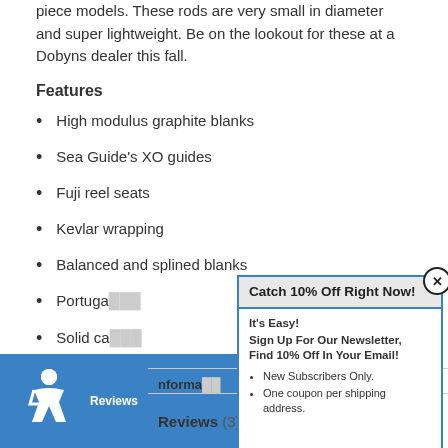piece models. These rods are very small in diameter and super lightweight. Be on the lookout for these at a Dobyns dealer this fall.
Features
High modulus graphite blanks
Sea Guide's XO guides
Fuji reel seats
Kevlar wrapping
Balanced and splined blanks
Portuga[l cork handles] (partially obscured)
Solid ca[rbon tips] (partially obscured)
[Figure (infographic): Popup modal with blue border containing discount offer 'Catch 10% Off Right Now!' with newsletter signup details and bullet points for New Subscribers Only and One coupon per shipping address.]
Informa[tion] (partially obscured)
Reviews (3)